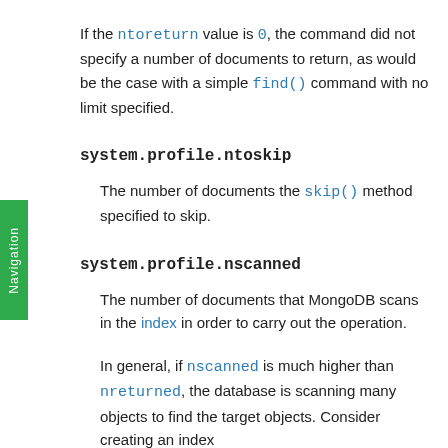If the ntoreturn value is 0, the command did not specify a number of documents to return, as would be the case with a simple find() command with no limit specified.
system.profile.ntoskip
The number of documents the skip() method specified to skip.
system.profile.nscanned
The number of documents that MongoDB scans in the index in order to carry out the operation.
In general, if nscanned is much higher than nreturned, the database is scanning many objects to find the target objects. Consider creating an index